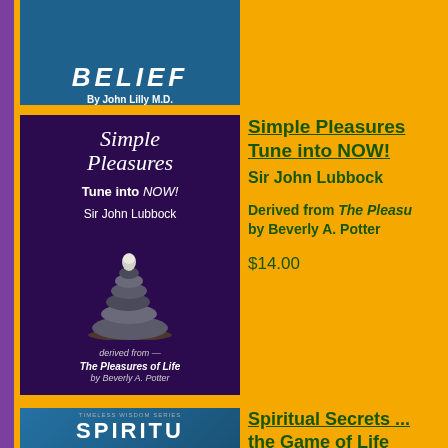[Figure (photo): Partial book cover showing 'BELIEF By John Lilly M.D.' on dark teal/blue background]
[Figure (photo): Book cover: 'Simple Pleasures Tune into NOW! Sir John Lubbock, derived from The Pleasures of Life by Beverly A. Potter' with stacked stones image on dark purple background]
Simple Pleasures Tune into NOW!
Sir John Lubbock
Derived from The Pleasures of Life by Beverly A. Potter
$14.00
[Figure (photo): Partial book cover for 'Spiritual Secrets ... the Game of Life' from Timeless Wisdom Series]
Spiritual Secrets ... the Game of Life